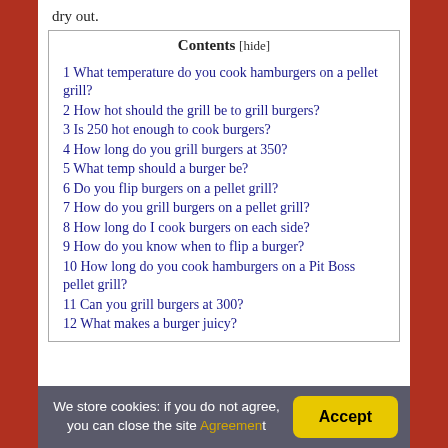dry out.
Contents [hide]
1 What temperature do you cook hamburgers on a pellet grill?
2 How hot should the grill be to grill burgers?
3 Is 250 hot enough to cook burgers?
4 How long do you grill burgers at 350?
5 What temp should a burger be?
6 Do you flip burgers on a pellet grill?
7 How do you grill burgers on a pellet grill?
8 How long do I cook burgers on each side?
9 How do you know when to flip a burger?
10 How long do you cook hamburgers on a Pit Boss pellet grill?
11 Can you grill burgers at 300?
12 What makes a burger juicy?
We store cookies: if you do not agree, you can close the site Agreement